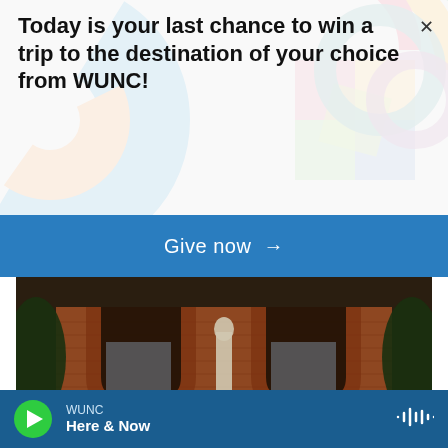Today is your last chance to win a trip to the destination of your choice from WUNC!
Give now →
[Figure (photo): Exterior of a brick building with arched entrances, a white statue in the center flanked by trimmed shrubs and trees]
WUNC / Here & Now